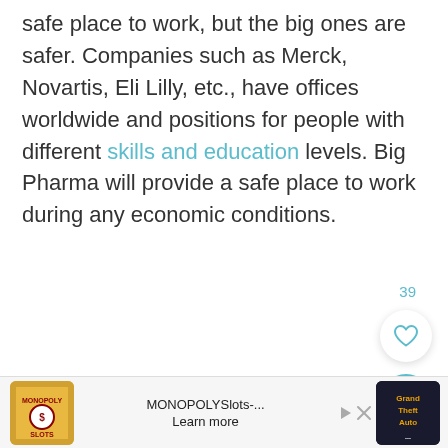safe place to work, but the big ones are safer. Companies such as Merck, Novartis, Eli Lilly, etc., have offices worldwide and positions for people with different skills and education levels. Big Pharma will provide a safe place to work during any economic conditions.
[Figure (other): Like count (39) and heart/like button (circular white button with heart icon), plus circular teal search button with magnifying glass icon]
[Figure (other): Advertisement bar at bottom: MONOPOLY Slots game ad on left with game icon, 'MONOPOLYSlots-... Learn more' text in center, GTA game icon on right, with play and close (X) controls]